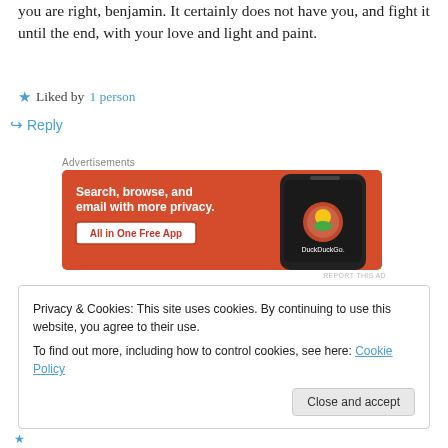you are right, benjamin. It certainly does not have you, and fight it until the end, with your love and light and paint.
★ Liked by 1 person
↪ Reply
Advertisements
[Figure (screenshot): DuckDuckGo advertisement banner with orange background. Text: 'Search, browse, and email with more privacy. All in One Free App'. Shows a phone with DuckDuckGo logo.]
REPORT THIS AD
Privacy & Cookies: This site uses cookies. By continuing to use this website, you agree to their use.
To find out more, including how to control cookies, see here: Cookie Policy
Close and accept